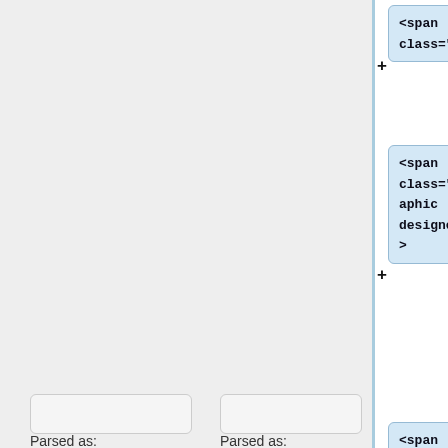[Figure (screenshot): A document editor or wiki diff view showing a tree of HTML node boxes on the right side. Each box contains HTML code snippets like <span class="vcard">, <span class="role">graphic designer</span>, <span class="fn">Joe Bloggs</span>., </span>, </ins>, </div></nowiki></pre>. Each node has a + expand button. At the bottom are two columns with empty boxes and 'Parsed as:' labels.]
Parsed as:
Parsed as: